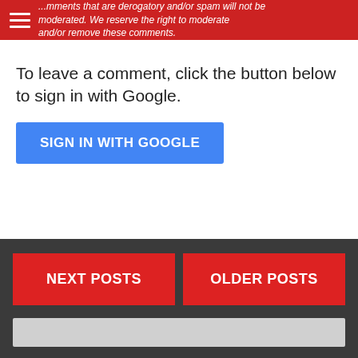...mments that are derogatory and/or spam will not be moderated. We reserve the right to moderate and/or remove these comments.
To leave a comment, click the button below to sign in with Google.
SIGN IN WITH GOOGLE
NEXT POSTS  OLDER POSTS